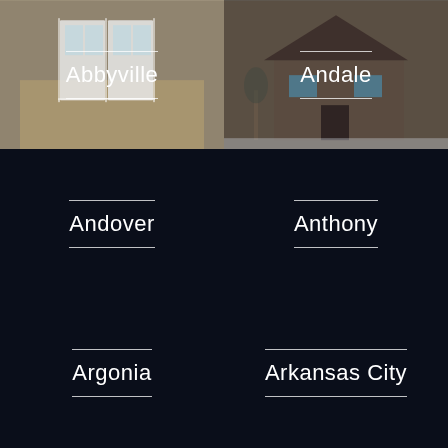[Figure (photo): Interior photo of Abbyville - showing white French doors and hardwood floor]
Abbyville
[Figure (photo): Exterior photo of Andale - showing a dark wood house exterior in winter]
Andale
[Figure (photo): Dark placeholder card for Andover]
Andover
[Figure (photo): Dark placeholder card for Anthony]
Anthony
[Figure (photo): Dark placeholder card for Argonia]
Argonia
[Figure (photo): Dark placeholder card for Arkansas City]
Arkansas City